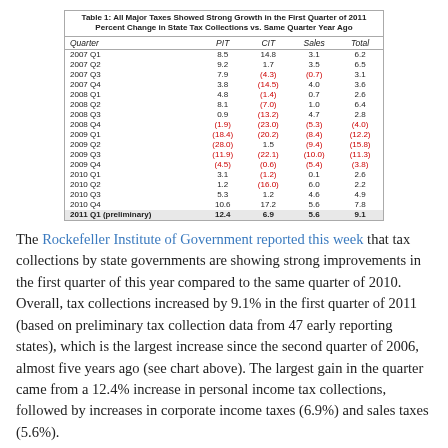| Quarter | PIT | CIT | Sales | Total |
| --- | --- | --- | --- | --- |
| 2007 Q1 | 8.5 | 14.8 | 3.1 | 6.2 |
| 2007 Q2 | 9.2 | 1.7 | 3.5 | 6.5 |
| 2007 Q3 | 7.9 | (4.3) | (0.7) | 3.1 |
| 2007 Q4 | 3.8 | (14.5) | 4.0 | 3.6 |
| 2008 Q1 | 4.8 | (1.4) | 0.7 | 2.6 |
| 2008 Q2 | 8.1 | (7.0) | 1.0 | 6.4 |
| 2008 Q3 | 0.9 | (13.2) | 4.7 | 2.8 |
| 2008 Q4 | (1.9) | (23.0) | (5.3) | (4.0) |
| 2009 Q1 | (18.4) | (20.2) | (8.4) | (12.2) |
| 2009 Q2 | (28.0) | 1.5 | (9.4) | (15.8) |
| 2009 Q3 | (11.9) | (22.1) | (10.0) | (11.3) |
| 2009 Q4 | (4.5) | (0.6) | (5.4) | (3.8) |
| 2010 Q1 | 3.1 | (1.2) | 0.1 | 2.6 |
| 2010 Q2 | 1.2 | (16.0) | 6.0 | 2.2 |
| 2010 Q3 | 5.3 | 1.2 | 4.6 | 4.9 |
| 2010 Q4 | 10.6 | 17.2 | 5.6 | 7.8 |
| 2011 Q1 (preliminary) | 12.4 | 6.9 | 5.6 | 9.1 |
The Rockefeller Institute of Government reported this week that tax collections by state governments are showing strong improvements in the first quarter of this year compared to the same quarter of 2010.  Overall, tax collections increased by 9.1% in the first quarter of 2011 (based on preliminary tax collection data from 47 early reporting states), which is the largest increase since the second quarter of 2006, almost five years ago (see chart above). The largest gain in the quarter came from a 12.4% increase in personal income tax collections, followed by increases in corporate income taxes (6.9%) and sales taxes (5.6%).
Related reports: